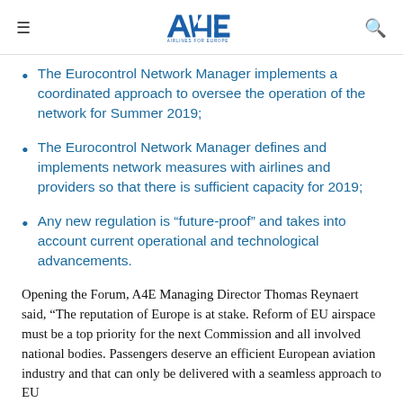A4E Airlines for Europe
The Eurocontrol Network Manager implements a coordinated approach to oversee the operation of the network for Summer 2019;
The Eurocontrol Network Manager defines and implements network measures with airlines and providers so that there is sufficient capacity for 2019;
Any new regulation is “future-proof” and takes into account current operational and technological advancements.
Opening the Forum, A4E Managing Director Thomas Reynaert said, “The reputation of Europe is at stake. Reform of EU airspace must be a top priority for the next Commission and all involved national bodies. Passengers deserve an efficient European aviation industry and that can only be delivered with a seamless approach to EU